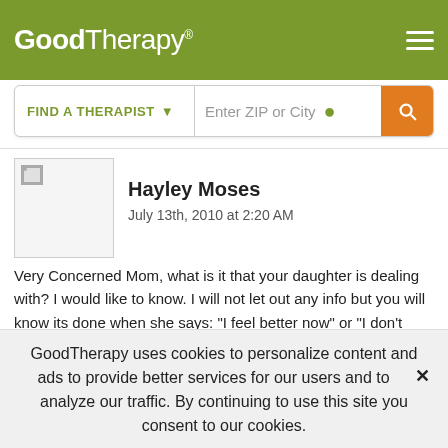GoodTherapy®
[Figure (screenshot): GoodTherapy website header with logo, hamburger menu, and Find a Therapist search bar with ZIP or City input]
Hayley Moses
July 13th, 2010 at 2:20 AM
Very Concerned Mom, what is it that your daughter is dealing with? I would like to know. I will not let out any info but you will know its done when she says: "I feel better now" or "I don't want to do this anymore" or something of the sort, even then whats wrong might come back(i have experience) and so its best to keep her going to meetings with her shrink for at least three months to the point
GoodTherapy uses cookies to personalize content and ads to provide better services for our users and to analyze our traffic. By continuing to use this site you consent to our cookies.